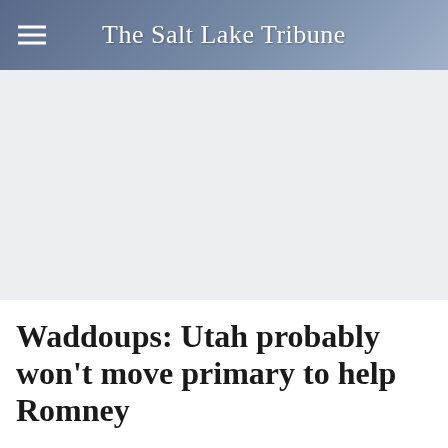The Salt Lake Tribune
[Figure (other): Advertisement or placeholder image area with light gray background]
Waddoups: Utah probably won't move primary to help Romney